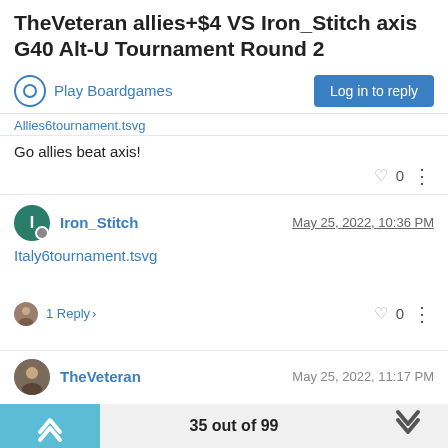TheVeteran allies+$4 VS Iron_Stitch axis G40 Alt-U Tournament Round 2
Play Boardgames
Log in to reply
Allies6tournament.tsvg
Go allies beat axis!
Iron_Stitch  May 25, 2022, 10:36 PM
Italy6tournament.tsvg
1 Reply >
TheVeteran  May 25, 2022, 11:17 PM
35 out of 99